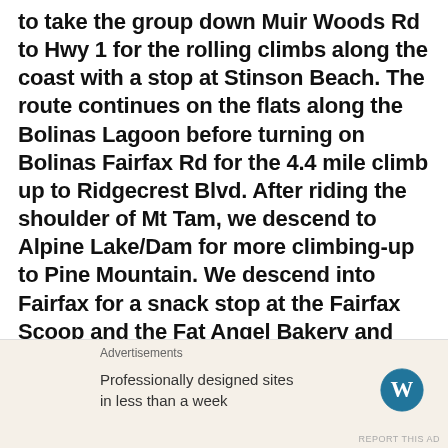to take the group down Muir Woods Rd to Hwy 1 for the rolling climbs along the coast with a stop at Stinson Beach. The route continues on the flats along the Bolinas Lagoon before turning on Bolinas Fairfax Rd for the 4.4 mile climb up to Ridgecrest Blvd. After riding the shoulder of Mt Tam, we descend to Alpine Lake/Dam for more climbing-up to Pine Mountain. We descend into Fairfax for a snack stop at the Fairfax Scoop and the Fat Angel Bakery and return to Mill Valley along the Marin County Bicycle Route 20 through the towns of San Anselmo.
Advertisements
Professionally designed sites in less than a week